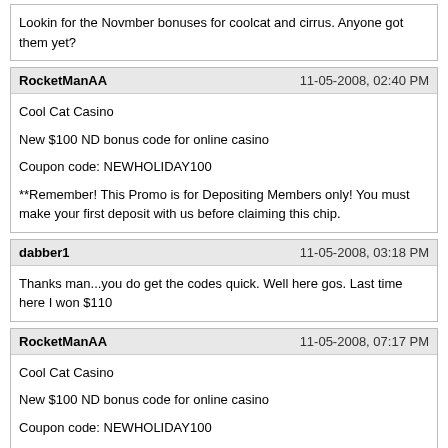Lookin for the Novmber bonuses for coolcat and cirrus. Anyone got them yet?
RocketManAA
11-05-2008, 02:40 PM
Cool Cat Casino
New $100 ND bonus code for online casino
Coupon code: NEWHOLIDAY100
**Remember! This Promo is for Depositing Members only! You must make your first deposit with us before claiming this chip.
dabber1
11-05-2008, 03:18 PM
Thanks man...you do get the codes quick. Well here gos. Last time here I won $110
RocketManAA
11-05-2008, 07:17 PM
Cool Cat Casino
New $100 ND bonus code for online casino
Coupon code: NEWHOLIDAY100
**Remember! This Promo is for Depositing Members only! You must make your first deposit with us before claiming this chip.
No problem. You can use any codes for Cool Cat at Wild Vegas Casino also if you use the coupon at Wild Vegas before you use it at Cool Cat casino!
RocketManAA
11-06-2008, 07:32 AM